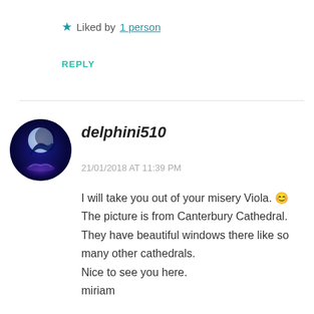★ Liked by 1 person
REPLY
delphini510
21/01/2018 AT 11:39 PM
I will take you out of your misery Viola. 😊 The picture is from Canterbury Cathedral. They have beautiful windows there like so many other cathedrals.
Nice to see you here.
miriam